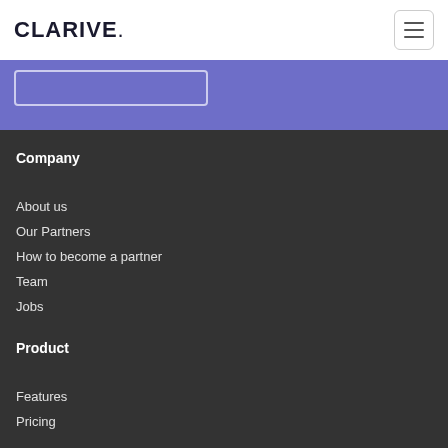CLARIVe.
Company
About us
Our Partners
How to become a partner
Team
Jobs
Product
Features
Pricing